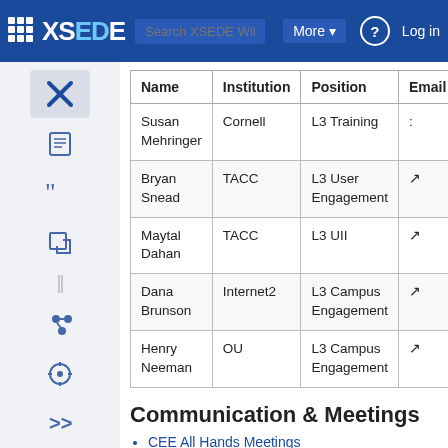XSEDE Wiki | More | Log in
| Name | Institution | Position | Email |
| --- | --- | --- | --- |
| Susan Mehringer | Cornell | L3 Training |  |
| Bryan Snead | TACC | L3 User Engagement |  |
| Maytal Dahan | TACC | L3 UII |  |
| Dana Brunson | Internet2 | L3 Campus Engagement |  |
| Henry Neeman | OU | L3 Campus Engagement |  |
Communication & Meetings
CEE All Hands Meetings
CEE-MGMT Meetings